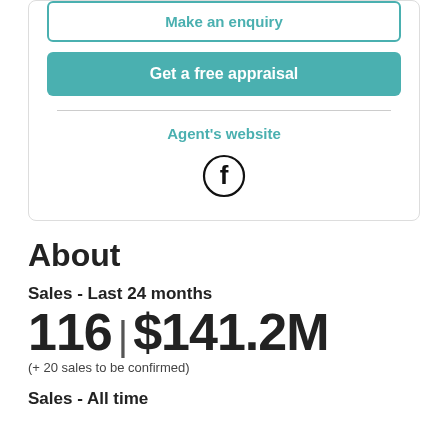Make an enquiry
Get a free appraisal
Agent's website
[Figure (illustration): Facebook logo icon — black circle outline with white lowercase 'f']
About
Sales - Last 24 months
116 | $141.2M
(+ 20 sales to be confirmed)
Sales - All time